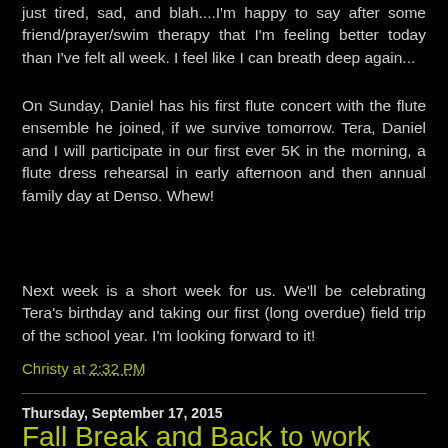just tired, sad, and blah....I'm happy to say after some friend/prayer/swim therapy that I'm feeling better today than I've felt all week.  I feel like I can breath deep again...
On Sunday, Daniel has his first flute concert with the flute ensemble he joined, if we survive tomorrow.  Tera, Daniel and I will participate in our first ever 5K in the morning, a flute dress rehearsal in early afternoon and then annual family day at Denso.  Whew!
Next week is a short week for us.  We'll be celebrating Tera's birthday and taking our first (long overdue) field trip of the school year.  I'm looking forward to it!
Christy at 2:32 PM
Thursday, September 17, 2015
Fall Break and Back to work